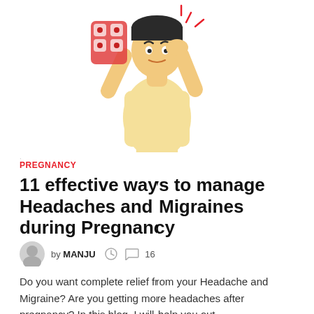[Figure (illustration): Cartoon illustration of a pregnant woman in a yellow shirt holding pills/medicine blister pack in one hand and touching her head with the other hand, suggesting headache.]
PREGNANCY
11 effective ways to manage Headaches and Migraines during Pregnancy
by MANJU  16
Do you want complete relief from your Headache and Migraine? Are you getting more headaches after pregnancy? In this blog, I will help you out …
[Figure (infographic): Social share buttons: Facebook, Twitter, Email, and a plus/share button]
READ MORE